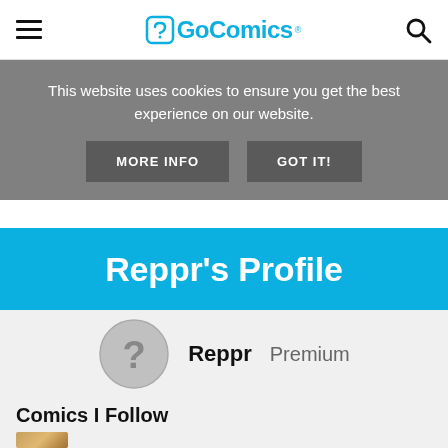GoComics
This website uses cookies to ensure you get the best experience on our website.
MORE INFO   GOT IT!
Reppr's Profile
Reppr Premium
Comics I Follow